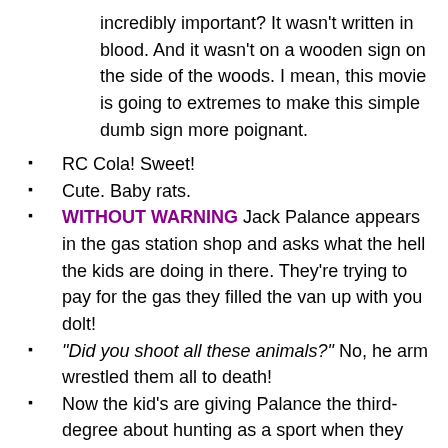incredibly important? It wasn't written in blood. And it wasn't on a wooden sign on the side of the woods. I mean, this movie is going to extremes to make this simple dumb sign more poignant.
RC Cola! Sweet!
Cute. Baby rats.
WITHOUT WARNING Jack Palance appears in the gas station shop and asks what the hell the kids are doing in there. They're trying to pay for the gas they filled the van up with you dolt!
“Did you shoot all these animals?” No, he arm wrestled them all to death!
Now the kid’s are giving Palance the third-degree about hunting as a sport when they see all the animal busts hanging in the shop. Bunch of pricks.
Palance is really giving them a stiff warning about